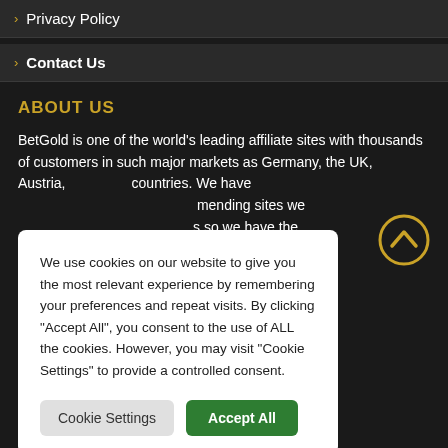› Privacy Policy
› Contact Us
ABOUT US
BetGold is one of the world's leading affiliate sites with thousands of customers in such major markets as Germany, the UK, Austria, countries. We have mending sites we so we have the your behalf, oination.
We use cookies on our website to give you the most relevant experience by remembering your preferences and repeat visits. By clicking "Accept All", you consent to the use of ALL the cookies. However, you may visit "Cookie Settings" to provide a controlled consent.
[Figure (other): Scroll-up button: gold circle with upward chevron arrow]